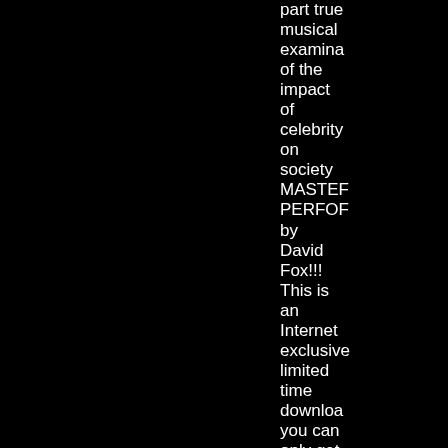part true musical examination of the impact of celebrity on society MASTER PERFOR by David Fox!!! This is an Internet exclusive limited time download you can only get